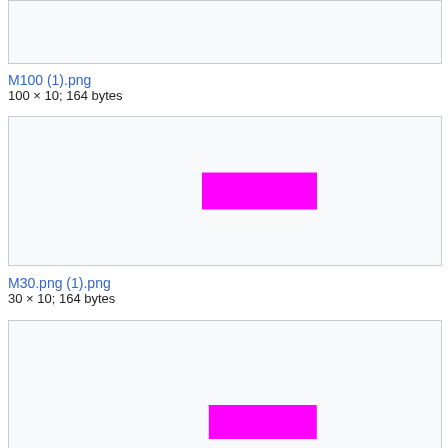[Figure (other): Gray preview box (top, partially visible) for M100 (1).png]
M100 (1).png
100 × 10; 164 bytes
[Figure (other): Gray preview box with magenta/pink rectangle centered-right, for M30.png (1).png]
M30.png (1).png
30 × 10; 164 bytes
[Figure (other): Gray preview box (bottom, partially visible) with magenta/pink rectangle, for next image]